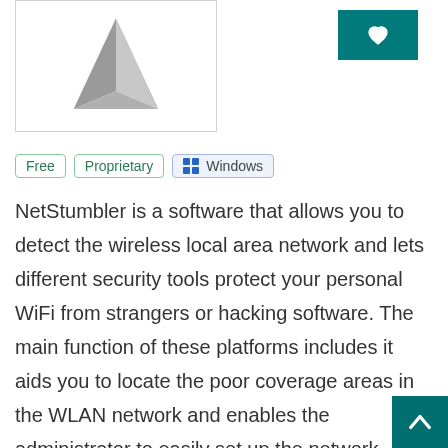[Figure (logo): 3D pyramid/triangular logo shape in gray, inside a bordered white box]
Free
Proprietary
Windows
NetStumbler is a software that allows you to detect the wireless local area network and lets different security tools protect your personal WiFi from strangers or hacking software. The main function of these platforms includes it aids you to locate the poor coverage areas in the WLAN network and enables the administrator to easily set up the network according to the requirement. After launching